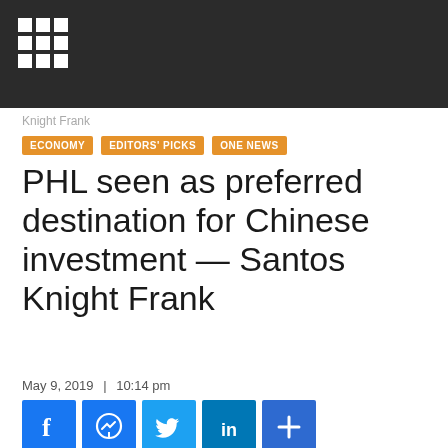Knight Frank
ECONOMY
EDITORS' PICKS
ONE NEWS
PHL seen as preferred destination for Chinese investment — Santos Knight Frank
May 9, 2019  |  10:14 pm
[Figure (infographic): Social sharing buttons: Facebook, Messenger, Twitter, LinkedIn, More (+)]
THE Philippines has become a preferred destination for Chinese investors, according to the new report released by real estate